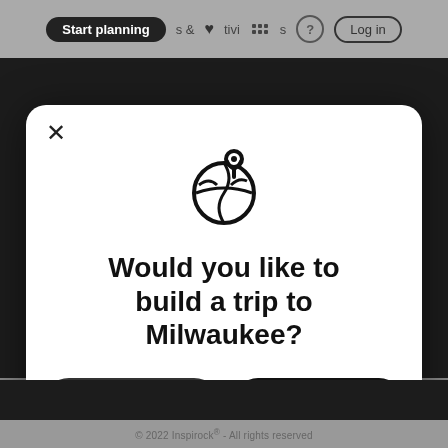Start planning  &  Activities  ?  Log in
[Figure (screenshot): Modal dialog on a travel website with globe and location pin icon, asking 'Would you like to build a trip to Milwaukee?' with 'No thanks' and 'Yes!' buttons]
Would you like to build a trip to Milwaukee?
No thanks
Yes!
© 2022 Inspirock® - All rights reserved